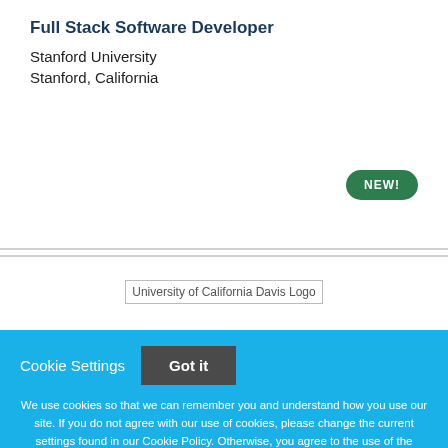Full Stack Software Developer
Stanford University
Stanford, California
[Figure (logo): University of California Davis Logo placeholder image]
Cookie Settings  Got it

We use cookies so that we can remember you and understand how you use our site. If you do not agree with our use of cookies, please change the current settings found in our Cookie Policy. Otherwise, you agree to the use of the cookies as they are currently set.